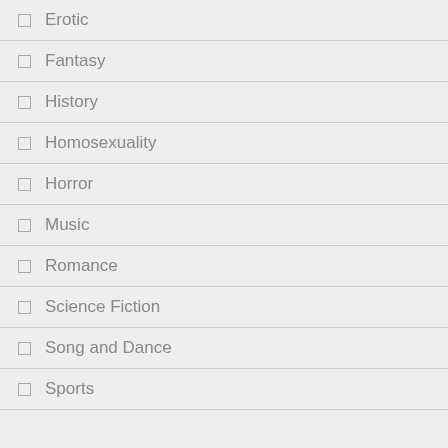Erotic
Fantasy
History
Homosexuality
Horror
Music
Romance
Science Fiction
Song and Dance
Sports